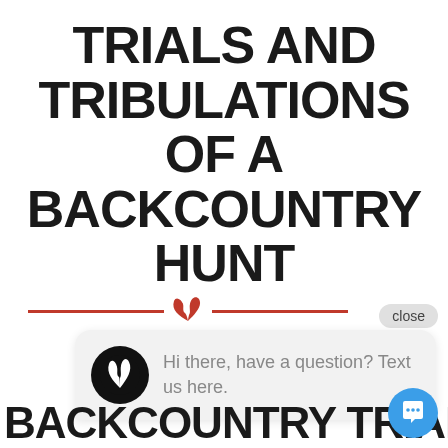TRIALS AND TRIBULATIONS OF A BACKCOUNTRY HUNT
[Figure (screenshot): Chat widget popup showing logo icon with antler, close button, and message bubble saying 'Hi there, have a question? Text us here.']
close
Hi there, have a question? Text us here.
BACKCOUNTRY TRIALS